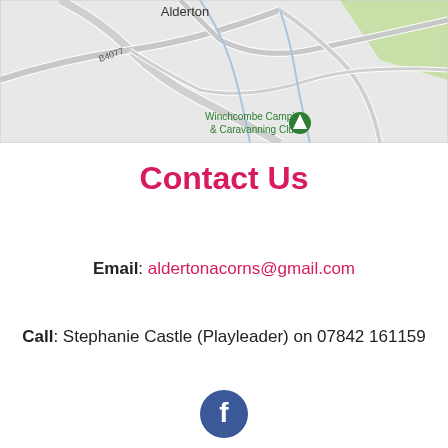[Figure (map): A map showing Alderton area with road B4077 and Winchcombe Camping & Caravanning Club marker]
Contact Us
Email: aldertonacorns@gmail.com
Call: Stephanie Castle (Playleader) on 07842 161159
[Figure (logo): Facebook logo icon - circular blue button with white 'f' letter]